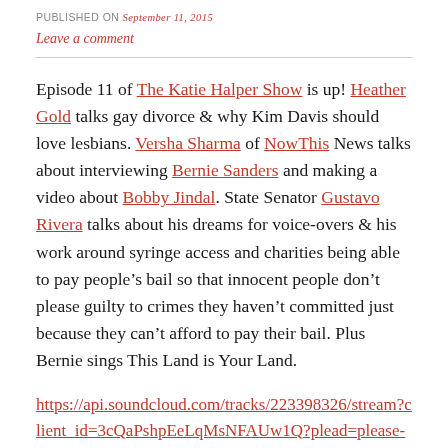PUBLISHED ON September 11, 2015
Leave a comment
Episode 11 of The Katie Halper Show is up! Heather Gold talks gay divorce & why Kim Davis should love lesbians. Versha Sharma of NowThis News talks about interviewing Bernie Sanders and making a video about Bobby Jindal. State Senator Gustavo Rivera talks about his dreams for voice-overs & his work around syringe access and charities being able to pay people’s bail so that innocent people don’t please guilty to crimes they haven’t committed just because they can’t afford to pay their bail. Plus Bernie sings This Land is Your Land.
https://api.soundcloud.com/tracks/223398326/stream?client_id=3cQaPshpEeLqMsNFAUw1Q?plead=please-dont-download-this-or-our-lawyers-wont-let-us-